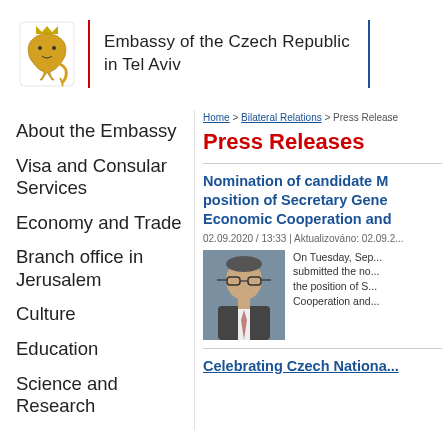[Figure (logo): Embassy of the Czech Republic in Tel Aviv header with Czech lion coat of arms logo, red vertical divider, embassy name text, and blue vertical divider]
About the Embassy
Visa and Consular Services
Economy and Trade
Branch office in Jerusalem
Culture
Education
Science and Research
Home > Bilateral Relations > Press Release
Press Releases
Nomination of candidate M... position of Secretary Gene... Economic Cooperation and...
02.09.2020 / 13:33 | Aktualizováno: 02.09.2...
[Figure (photo): Portrait photo of a middle-aged man wearing glasses and a suit]
On Tuesday, Sep... submitted the no... the position of S... Cooperation and...
Celebrating Czech Nationa...